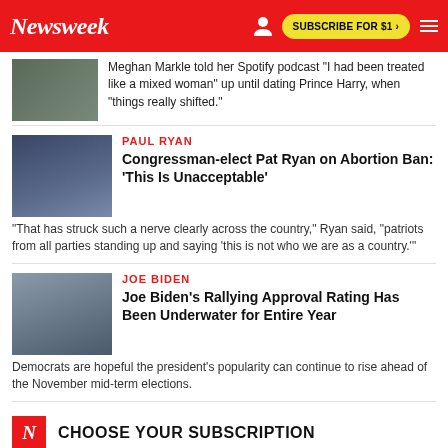Newsweek | SUBSCRIBE FOR $1
Meghan Markle told her Spotify podcast "I had been treated like a mixed woman" up until dating Prince Harry, when "things really shifted."
PAUL RYAN
Congressman-elect Pat Ryan on Abortion Ban: 'This Is Unacceptable'
"That has struck such a nerve clearly across the country," Ryan said, "patriots from all parties standing up and saying 'this is not who we are as a country.'"
JOE BIDEN
Joe Biden's Rallying Approval Rating Has Been Underwater for Entire Year
Democrats are hopeful the president's popularity can continue to rise ahead of the November mid-term elections.
CHOOSE YOUR SUBSCRIPTION